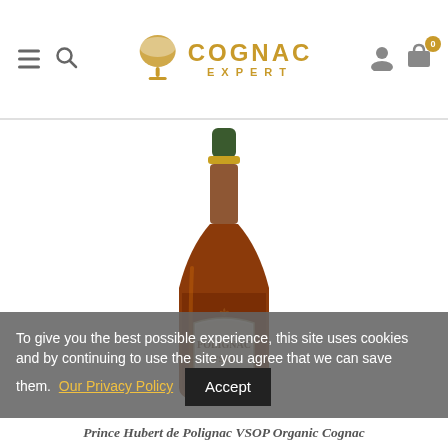COGNAC EXPERT
[Figure (photo): A bottle of Prince Hubert de Polignac VSOP Organic Cognac with dark amber liquid, green cap, and a label reading POLIGNAC VSOP Biologique Organic, on a white background.]
To give you the best possible experience, this site uses cookies and by continuing to use the site you agree that we can save them. Our Privacy Policy  Accept
Prince Hubert de Polignac VSOP Organic Cognac